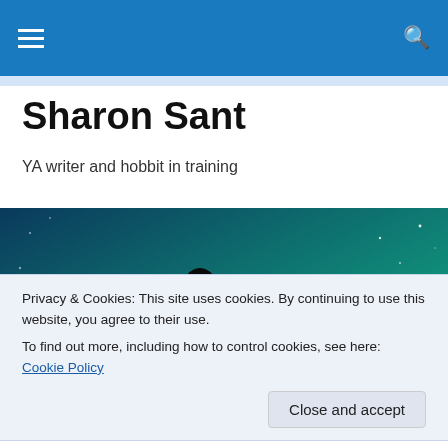Sharon Sant — site navigation header with hamburger menu and search icon
Sharon Sant
YA writer and hobbit in training
[Figure (photo): Hero banner image showing a silhouette of a person looking up at a glowing teal/green cosmic sky with large translucent letters in the background spelling out part of a word (SONG or similar)]
Privacy & Cookies: This site uses cookies. By continuing to use this website, you agree to their use.
To find out more, including how to control cookies, see here: Cookie Policy
[Close and accept button]
sensible linear journey that begins with an idea, proceeds